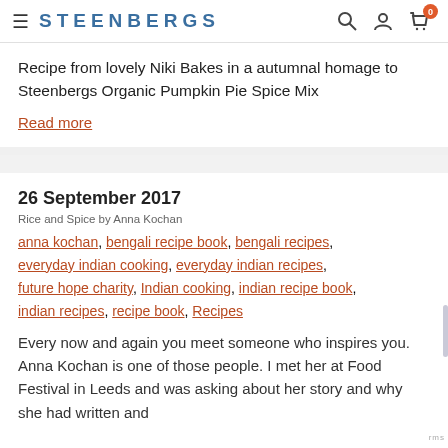STEENBERGS
Recipe from lovely Niki Bakes in a autumnal homage to Steenbergs Organic Pumpkin Pie Spice Mix
Read more
26 September 2017
Rice and Spice by Anna Kochan
anna kochan, bengali recipe book, bengali recipes, everyday indian cooking, everyday indian recipes, future hope charity, Indian cooking, indian recipe book, indian recipes, recipe book, Recipes
Every now and again you meet someone who inspires you. Anna Kochan is one of those people. I met her at Food Festival in Leeds and was asking about her story and why she had written and